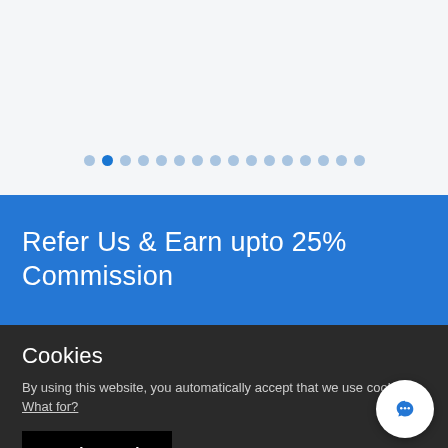[Figure (other): Carousel dot navigation row with 16 dots, second dot highlighted in blue indicating current slide position]
Refer Us & Earn upto 25% Commission
Cookies
By using this website, you automatically accept that we use cookies. What for?
Understood